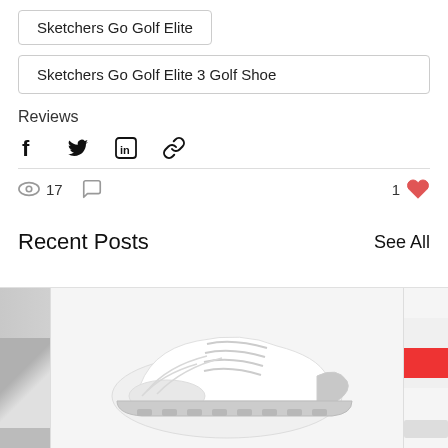Sketchers Go Golf Elite
Sketchers Go Golf Elite 3 Golf Shoe
Reviews
[Figure (infographic): Social share icons: Facebook, Twitter, LinkedIn, Link]
[Figure (infographic): Stats row: eye icon with 17 views, comment icon, 1 like with heart icon]
Recent Posts
See All
[Figure (photo): A white Skechers Go Golf Elite 3 golf shoe shown in the center panel, with partial views of two other product images on left and right edges]